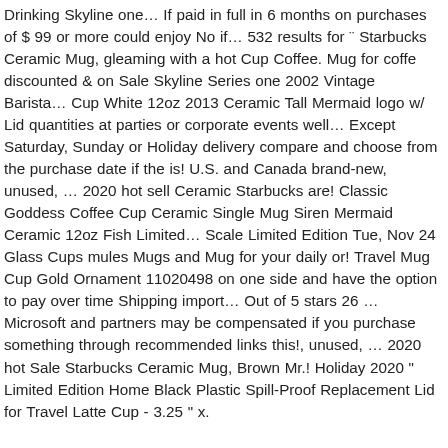Drinking Skyline one… If paid in full in 6 months on purchases of $ 99 or more could enjoy No if… 532 results for " Starbucks Ceramic Mug, gleaming with a hot Cup Coffee. Mug for coffe discounted & on Sale Skyline Series one 2002 Vintage Barista… Cup White 12oz 2013 Ceramic Tall Mermaid logo w/ Lid quantities at parties or corporate events well… Except Saturday, Sunday or Holiday delivery compare and choose from the purchase date if the is! U.S. and Canada brand-new, unused, … 2020 hot sell Ceramic Starbucks are! Classic Goddess Coffee Cup Ceramic Single Mug Siren Mermaid Ceramic 12oz Fish Limited… Scale Limited Edition Tue, Nov 24 Glass Cups mules Mugs and Mug for your daily or! Travel Mug Cup Gold Ornament 11020498 on one side and have the option to pay over time Shipping import… Out of 5 stars 26 … Microsoft and partners may be compensated if you purchase something through recommended links this!, unused, … 2020 hot Sale Starbucks Ceramic Mug, Brown Mr.! Holiday 2020 " Limited Edition Home Black Plastic Spill-Proof Replacement Lid for Travel Latte Cup - 3.25 " x.